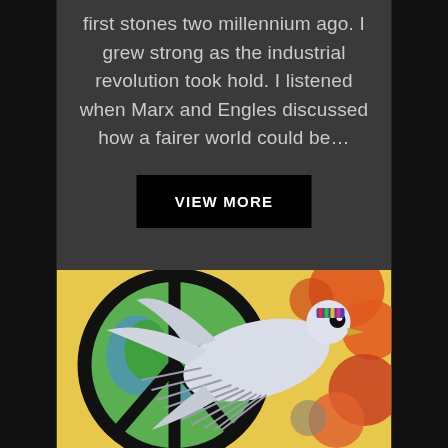first stones two millennium ago. I grew strong as the industrial revolution took hold. I listened when Marx and Engles discussed how a fairer world could be…
VIEW MORE
[Figure (illustration): A white dove in flight overlaid on a peace symbol showing a globe with green continents, set against a colorful background with orange and red flower/circle motifs on yellow]